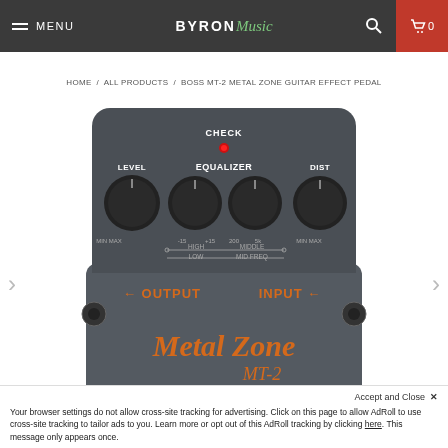MENU | BYRON Music | search | cart 0
HOME / ALL PRODUCTS / BOSS MT-2 METAL ZONE GUITAR EFFECT PEDAL
[Figure (photo): Photo of Boss MT-2 Metal Zone guitar effects pedal, dark grey/black unit with orange text reading 'Metal Zone MT-2', showing knobs labeled LEVEL, EQUALIZER (HIGH/LOW, MIDDLE/MID FREQ), DIST, CHECK indicator light, OUTPUT and INPUT labels with arrows.]
Accept and Close ✕
Your browser settings do not allow cross-site tracking for advertising. Click on this page to allow AdRoll to use cross-site tracking to tailor ads to you. Learn more or opt out of this AdRoll tracking by clicking here. This message only appears once.